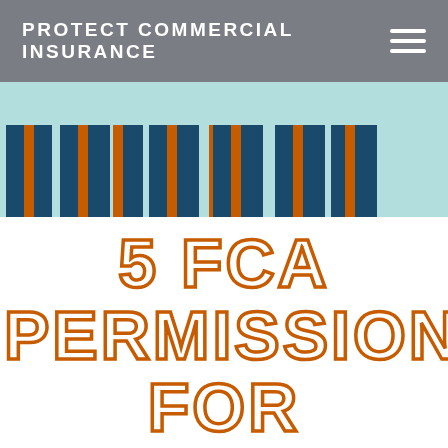PROTECT COMMERCIAL INSURANCE
[Figure (illustration): Decorative striped banner with alternating dark teal/navy and orange vertical stripes on a light teal background]
5 FCA PERMISSIONS FOR ADVISING ON